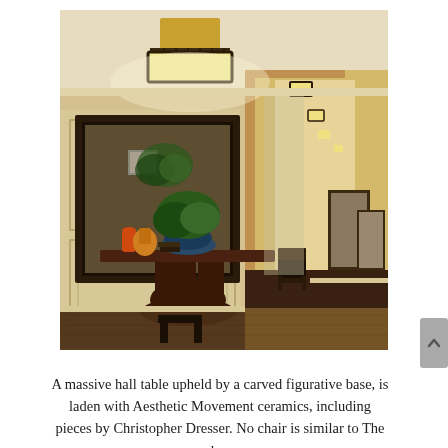[Figure (photo): Interior photo of an elegant home entryway featuring a massive hall table with a carved figurative base, topped with Aesthetic Movement ceramics including a blue bowl with a plant and orange/red vases. A large dark-framed mirror hangs above on a cream paneled wall. A square ceiling light fixture is centered above. To the right, a hallway recedes with matching ceiling lights, dark hardwood floors, framed artwork on yellow walls, and a dark wood chair visible in the distance. A patterned oriental rug is on the floor.]
A massive hall table upheld by a carved figurative base, is laden with Aesthetic Movement ceramics, including pieces by Christopher Dresser. No chair is similar to The b...